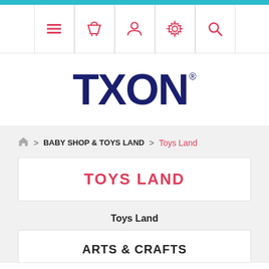Navigation bar with icons: menu, basket, user, settings, search
[Figure (logo): TXON logo in dark navy blue bold text with registered trademark symbol]
BABY SHOP & TOYS LAND > Toys Land
TOYS LAND
Toys Land
ARTS & CRAFTS